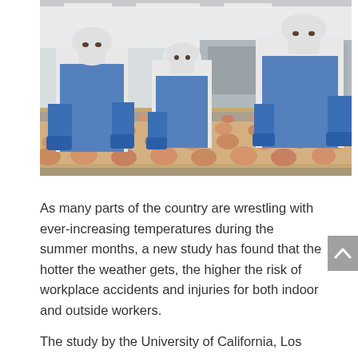[Figure (photo): Food processing plant workers wearing white protective suits, blue aprons, blue gloves, and face masks, sorting food items (bread rolls or nuggets) on a conveyor belt in an industrial kitchen setting.]
As many parts of the country are wrestling with ever-increasing temperatures during the summer months, a new study has found that the hotter the weather gets, the higher the risk of workplace accidents and injuries for both indoor and outside workers.
The study by the University of California, Los